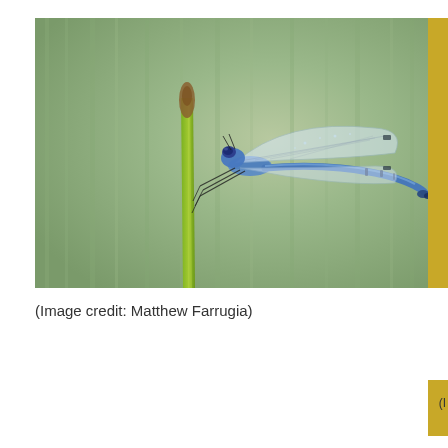[Figure (photo): Close-up photograph of a blue damselfly perched on a green plant stem, wings spread, against a soft green blurred background. Photographer: Matthew Farrugia.]
(Image credit: Matthew Farrugia)